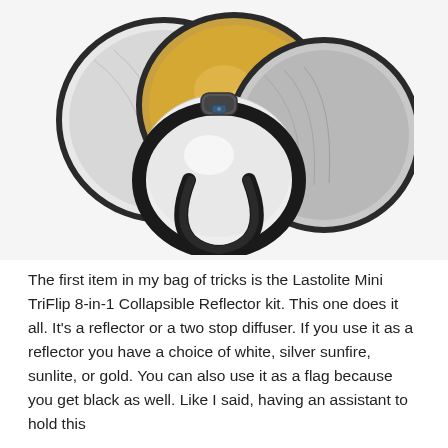[Figure (photo): Photo of a Lastolite Mini TriFlip 8-in-1 Collapsible Reflector kit showing multiple circular reflector panels fanned out — silver, gold, and white/silver surfaces visible — with a black handle grip in the center foreground.]
The first item in my bag of tricks is the Lastolite Mini TriFlip 8-in-1 Collapsible Reflector kit. This one does it all. It's a reflector or a two stop diffuser. If you use it as a reflector you have a choice of white, silver sunfire, sunlite, or gold. You can also use it as a flag because you get black as well. Like I said, having an assistant to hold this